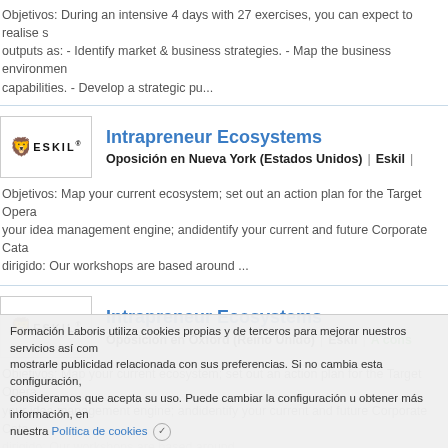Objetivos: During an intensive 4 days with 27 exercises, you can expect to realise such outputs as: - Identify market & business strategies. - Map the business environment and capabilities. - Develop a strategic pu...
[Figure (logo): Eskil logo with heraldic lion and ESKIL text]
Intrapreneur Ecosystems
Oposición en Nueva York (Estados Unidos) | Eskil |
Objetivos: Map your current ecosystem; set out an action plan for the Target Opera... your idea management engine; andidentify your current and future Corporate Cata... dirigido: Our workshops are based around ...
[Figure (logo): Eskil logo with heraldic lion and ESKIL text]
Intrapreneur Ecosystems
Oposición en Oxford (Reino Unido) | Eskil | A cons
Objetivos: Map your current ecosystem; set out an action plan for the Target Opera... your idea management engine; andidentify your current and future Corporate Cata... dirigido: Our workshops are based around
Formación Laboris utiliza cookies propias y de terceros para mejorar nuestros servicios así como mostrarle publicidad relacionada con sus preferencias. Si no cambia esta configuración, consideramos que acepta su uso. Puede cambiar la configuración u obtener más información, en nuestra Política de cookies ✓